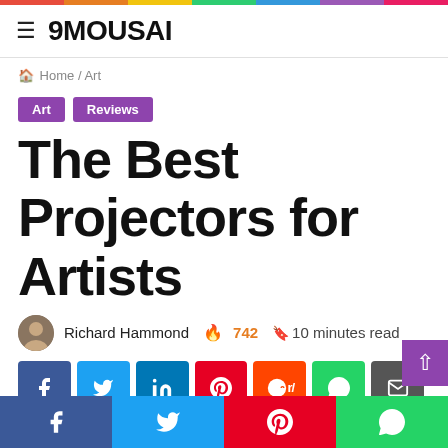9MOUSAI
Home / Art
Art   Reviews
The Best Projectors for Artists
Richard Hammond  🔥 742  🔖 10 minutes read
[Figure (screenshot): Social share buttons row: Facebook, Twitter, LinkedIn, Pinterest, Reddit, WhatsApp, Email]
[Figure (screenshot): Bottom share bar with Facebook, Twitter, Pinterest, WhatsApp buttons]